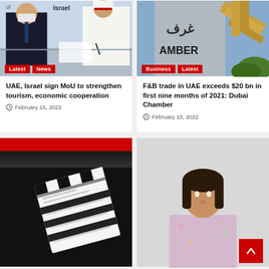[Figure (photo): Two men at a signing ceremony, one wearing a mask in a suit, another in white traditional attire signing a document. Text 'Israel' visible in background.]
UAE, Israel sign MoU to strengthen tourism, economic cooperation
February 15, 2022
[Figure (photo): Building exterior with Arabic text and the word AMBER visible on a column. Golden structural elements in background.]
F&B trade in UAE exceeds $20 bn in first nine months of 2021: Dubai Chamber
February 15, 2022
[Figure (photo): Film clapperboard on dark background with red bar at top.]
[Figure (photo): Woman with dark hair in floral top against grey background. Red square with white up arrow in bottom right corner.]